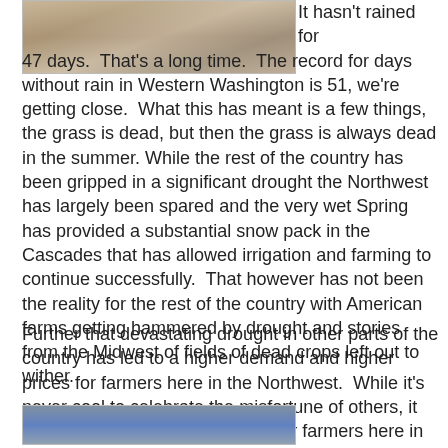[Figure (photo): Partial photo of two people at top of page, cropped]
It hasn't rained for 47 days.  That's a long time.  The record for days without rain in Western Washington is 51, we're getting close.  What this has meant is a few things, the grass is dead, but then the grass is always dead in the summer. While the rest of the country has been gripped in a significant drought the Northwest has largely been spared and the very wet Spring has provided a substantial snow pack in the Cascades that has allowed irrigation and farming to continue successfully.  That however has not been the reality for the rest of the country with American farms getting hammered by drought and stories from the Midwest of fields of dead crops left out to wither.
Further that devastating drought in other parts of the country has led to a higher demand and higher prices for farmers here in the Northwest.  While it's never cool to celebrate the misfortune of others, it has been a bit of a banner year for farmers here in the Northwest.
[Figure (photo): Partial photo at bottom of page, cropped]